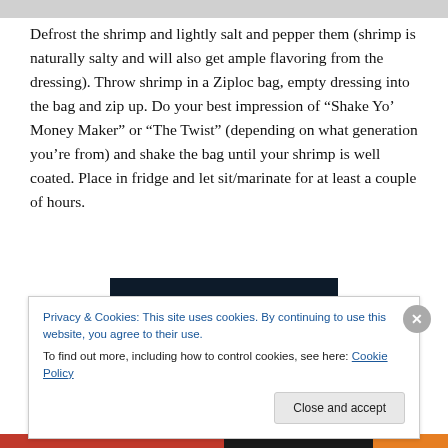Defrost the shrimp and lightly salt and pepper them (shrimp is naturally salty and will also get ample flavoring from the dressing). Throw shrimp in a Ziploc bag, empty dressing into the bag and zip up. Do your best impression of “Shake Yo’ Money Maker” or “The Twist” (depending on what generation you’re from) and shake the bag until your shrimp is well coated. Place in fridge and let sit/marinate for at least a couple of hours.
[Figure (photo): Dark/black rectangular image placeholder]
Privacy & Cookies: This site uses cookies. By continuing to use this website, you agree to their use.
To find out more, including how to control cookies, see here: Cookie Policy